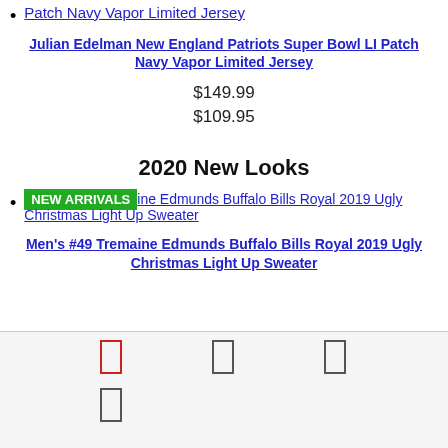Patch Navy Vapor Limited Jersey
Julian Edelman New England Patriots Super Bowl LI Patch Navy Vapor Limited Jersey
$149.99
$109.95
2020 New Looks
NEW ARRIVALS aine Edmunds Buffalo Bills Royal 2019 Ugly Christmas Light Up Sweater
Men's #49 Tremaine Edmunds Buffalo Bills Royal 2019 Ugly Christmas Light Up Sweater
[Figure (other): Footer area with icon boxes (rectangle outlines) arranged in two rows, first row has red, black, black icons, second row has one black icon]